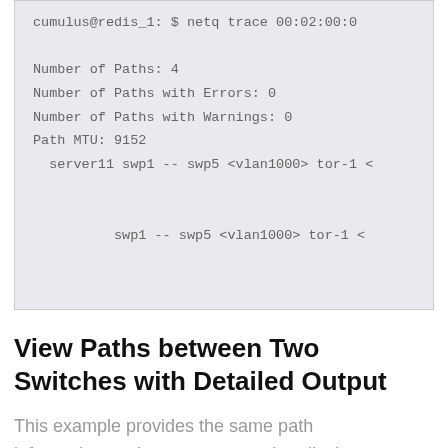[Figure (screenshot): Code block showing network trace output: Number of Paths: 4, Number of Paths with Errors: 0, Number of Paths with Warnings: 0, Path MTU: 9152, server11 swp1 -- swp5 <vlan1000> tor-1 <..., swp1 -- swp5 <vlan1000> tor-1 <...]
View Paths between Two Switches with Detailed Output
This example provides the same path information as the pretty output, but displays